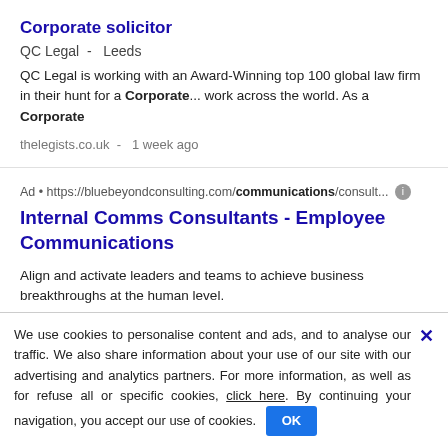Corporate solicitor
QC Legal  -  Leeds
QC Legal is working with an Award-Winning top 100 global law firm in their hunt for a Corporate... work across the world. As a Corporate
thelegists.co.uk  -  1 week ago
Ad • https://bluebeyondconsulting.com/communications/consult...
Internal Comms Consultants - Employee Communications
Align and activate leaders and teams to achieve business breakthroughs at the human level.
Employee Engagement
We use cookies to personalise content and ads, and to analyse our traffic. We also share information about your use of our site with our advertising and analytics partners. For more information, as well as for refuse all or specific cookies, click here. By continuing your navigation, you accept our use of cookies. OK